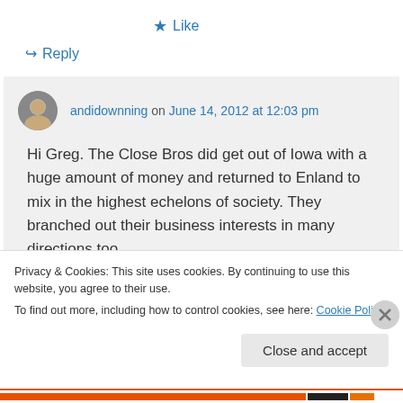★ Like
↪ Reply
andidownning on June 14, 2012 at 12:03 pm
Hi Greg. The Close Bros did get out of Iowa with a huge amount of money and returned to Enland to mix in the highest echelons of society. They branched out their business interests in many directions too.
Privacy & Cookies: This site uses cookies. By continuing to use this website, you agree to their use. To find out more, including how to control cookies, see here: Cookie Policy